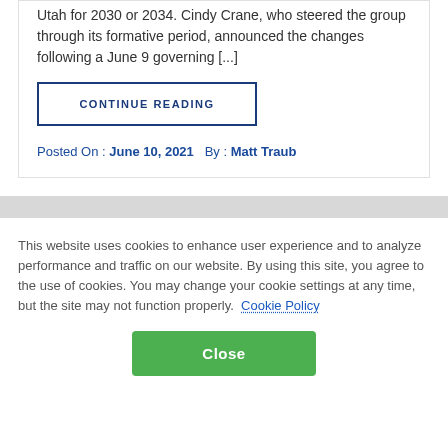Utah for 2030 or 2034. Cindy Crane, who steered the group through its formative period, announced the changes following a June 9 governing [...]
CONTINUE READING
Posted On : June 10, 2021   By : Matt Traub
This website uses cookies to enhance user experience and to analyze performance and traffic on our website. By using this site, you agree to the use of cookies. You may change your cookie settings at any time, but the site may not function properly. Cookie Policy
Close